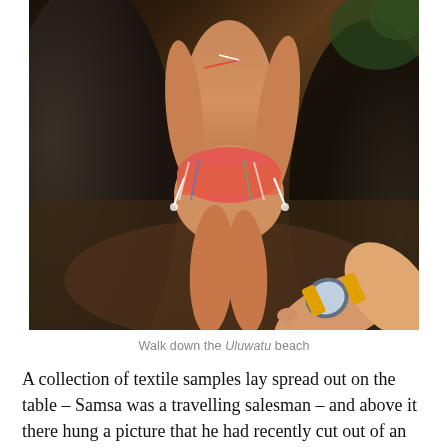[Figure (photo): A woman in a colorful bikini viewed from behind, standing near dark rocks, holding hands with someone wearing a watch with a yellow band. Outdoor beach/nature setting.]
Walk down the Uluwatu beach
A collection of textile samples lay spread out on the table – Samsa was a travelling salesman – and above it there hung a picture that he had recently cut out of an illustrated magazine and housed in a nice, gilded frame. It showed a